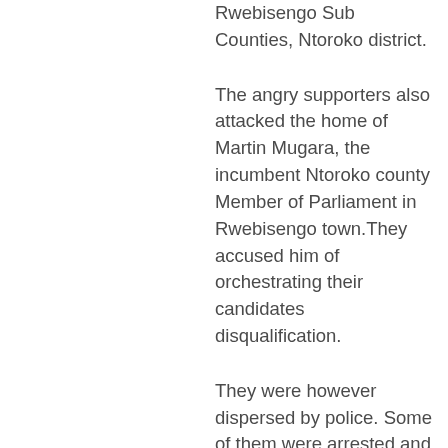Rwebisengo Sub Counties, Ntoroko  district.
The angry supporters also attacked the home of  Martin Mugara, the incumbent Ntoroko county Member of Parliament in Rwebisengo town.They accused him of orchestrating their candidates disqualification.
They were however dispersed by police. Some of them were arrested and released without charge.
Gerald Kawamara, Ibanda's chief campaign agent questioned the timing of the disqualification, saying his candidate was legally nominated by Electoral Commission.
Chris Ajuna, another supporter of Ibanda wants NRM to explain its position on the disqualification of their candidate before of polling day. Mesarch Kawamara, the Ntoroko District NRM chairperson told URN the district will meet today to discuss the matter.